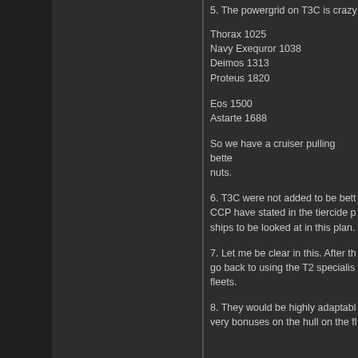5. The powergrid on T3C is crazy
Thorax 1025
Navy Exequror 1038
Deimos 1313
Proteus 1820
Eos 1500
Astarte 1688
So we have a cruiser pulling bette nuts.
6. T3C were not added to be bett CCP have stated in the tiercide p ships to be looked at in this plan.
7. Let me be clear in this. After th go back to using the T2 specialis fleets.
8. They would be highly adaptabl very bonuses on the hull on the fl